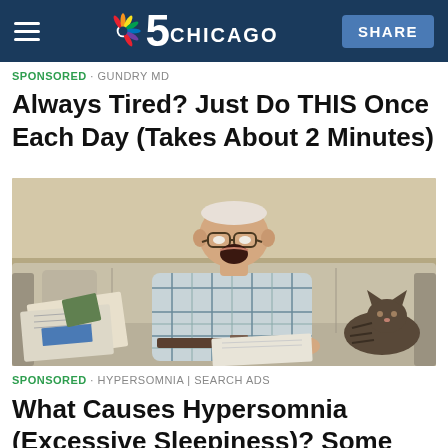NBC 5 CHICAGO | SHARE
SPONSORED · GUNDRY MD
Always Tired? Just Do THIS Once Each Day (Takes About 2 Minutes)
[Figure (photo): Older man with glasses sitting on a beige couch with mouth open (yawning), wearing a plaid shirt, holding papers/newspaper, with a cat resting on the couch beside him]
SPONSORED · HYPERSOMNIA | SEARCH ADS
What Causes Hypersomnia (Excessive Sleepiness)? Some May Wish They Realized Sooner